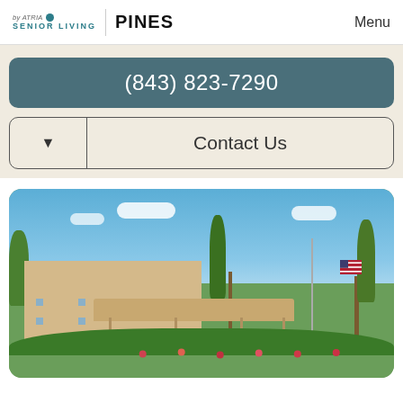by ATRIA • PINES SENIOR LIVING | Menu
(843) 823-7290
Contact Us
[Figure (photo): Exterior photo of a senior living community building with a covered entrance canopy, surrounded by tall trees and lush landscaping under a bright blue sky with an American flag on a flagpole.]